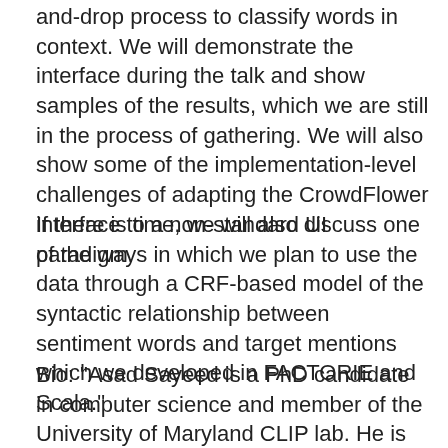and-drop process to classify words in context. We will demonstrate the interface during the talk and show samples of the results, which we are still in the process of gathering. We will also show some of the implementation-level challenges of adapting the CrowdFlower interface to a non-standard UI paradigm.
If there is time, we will also discuss one of the ways in which we plan to use the data through a CRF-based model of the syntactic relationship between sentiment words and target mentions which we developed in FACTORIE and Scala."
Bio: "Asad Sayeed is a PhD candidate in computer science and member of the University of Maryland CLIP lab. He is working on his dissertation in syntactically fine-grained sentiment analysis."
March 2, Ned Talley: An Unsupervised View of NIH Grants – Latent Categories